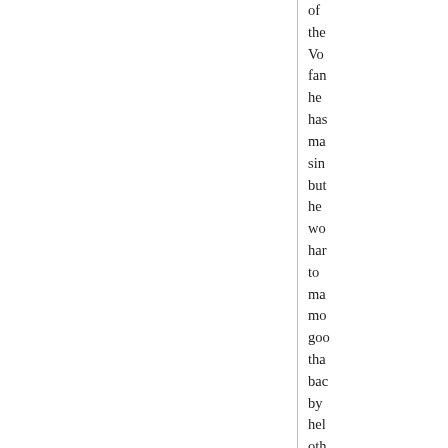of the Vo fan he has ma sin but he wo har to ma mo goo tha bac by hel oth you see to be